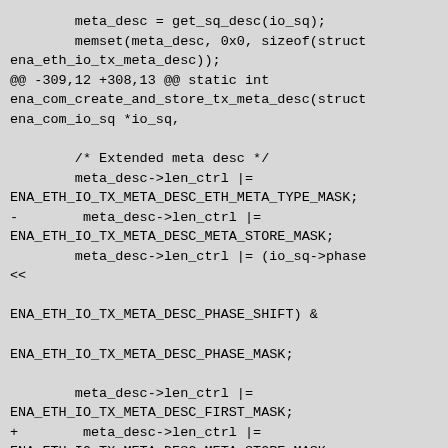meta_desc = get_sq_desc(io_sq);
        memset(meta_desc, 0x0, sizeof(struct ena_eth_io_tx_meta_desc));
@@ -309,12 +308,13 @@ static int ena_com_create_and_store_tx_meta_desc(struct ena_com_io_sq *io_sq,

        /* Extended meta desc */
        meta_desc->len_ctrl |=
ENA_ETH_IO_TX_META_DESC_ETH_META_TYPE_MASK;
-        meta_desc->len_ctrl |=
ENA_ETH_IO_TX_META_DESC_META_STORE_MASK;
        meta_desc->len_ctrl |= (io_sq->phase
<<

ENA_ETH_IO_TX_META_DESC_PHASE_SHIFT) &

ENA_ETH_IO_TX_META_DESC_PHASE_MASK;

        meta_desc->len_ctrl |=
ENA_ETH_IO_TX_META_DESC_FIRST_MASK;
+        meta_desc->len_ctrl |=
ENA_ETH_IO_TX_META_DESC_META_STORE_MASK;
+
        meta_desc->word2 |= ena_meta-